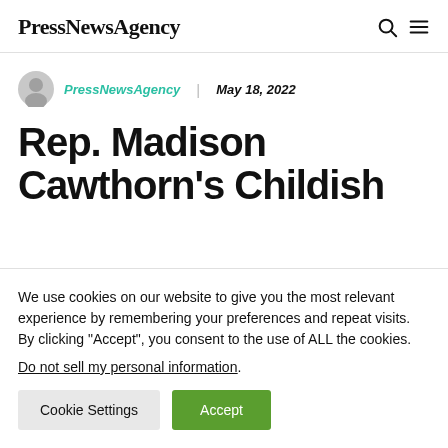PressNewsAgency
PressNewsAgency | May 18, 2022
Rep. Madison Cawthorn's Childish
We use cookies on our website to give you the most relevant experience by remembering your preferences and repeat visits. By clicking "Accept", you consent to the use of ALL the cookies. Do not sell my personal information.
Cookie Settings  Accept